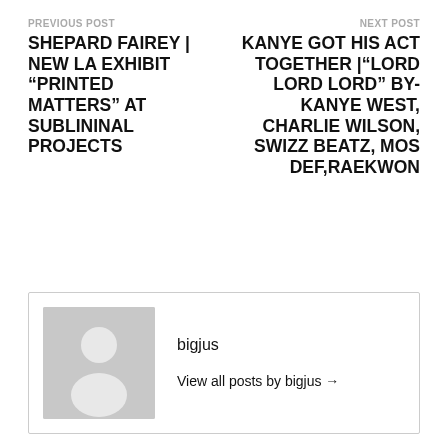PREVIOUS POST
NEXT POST
SHEPARD FAIREY | NEW LA EXHIBIT “PRINTED MATTERS” AT SUBLININAL PROJECTS
KANYE GOT HIS ACT TOGETHER |“LORD LORD LORD” BY- KANYE WEST, CHARLIE WILSON, SWIZZ BEATZ, MOS DEF,RAEKWON
bigjus
View all posts by bigjus →